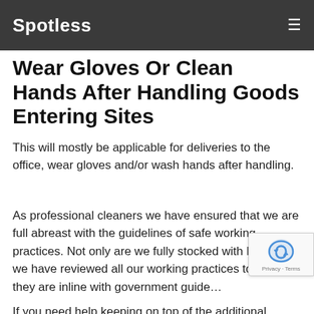Spotless
Wear Gloves Or Clean Hands After Handling Goods Entering Sites
This will mostly be applicable for deliveries to the office, wear gloves and/or wash hands after handling.
As professional cleaners we have ensured that we are full abreast with the guidelines of safe working practices. Not only are we fully stocked with PPE, but we have reviewed all our working practices to ensure they are inline with government guide…
If you need help keeping on top of the additional…